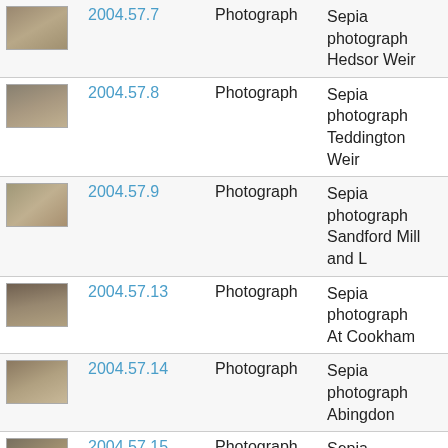| Image | ID | Type | Description |
| --- | --- | --- | --- |
| [photo] | 2004.57.7 | Photograph | Sepia photograph Hedsor Weir |
| [photo] | 2004.57.8 | Photograph | Sepia photograph Teddington Weir |
| [photo] | 2004.57.9 | Photograph | Sepia photograph Sandford Mill and L… |
| [photo] | 2004.57.13 | Photograph | Sepia photograph At Cookham |
| [photo] | 2004.57.14 | Photograph | Sepia photograph Abingdon |
| [photo] | 2004.57.15 | Photograph | Sepia photograph Shillingford Bridge |
| [photo] | 2004.57.16 | Photograph | Sepia photograph The Swan Inn at Ro… |